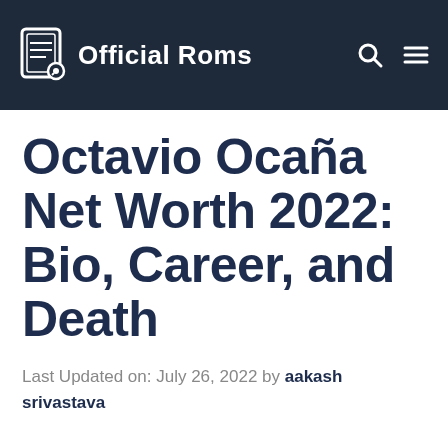Official Roms
Octavio Ocaña Net Worth 2022: Bio, Career, and Death
Last Updated on: July 26, 2022 by aakash srivastava